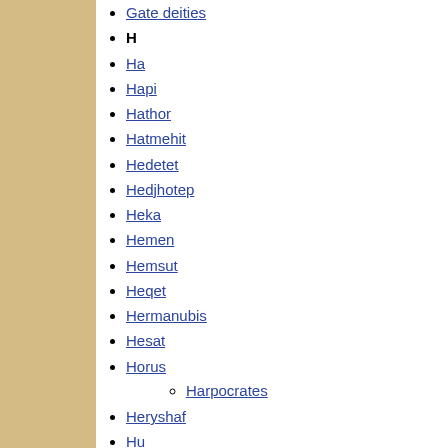Gate deities
H
Ha
Hapi
Hathor
Hatmehit
Hedetet
Hedjhotep
Heka
Hemen
Hemsut
Heqet
Hermanubis
Hesat
Horus
Harpocrates
Heryshaf
Hu
I
Iabet
Iah
Iat
Ihy
Imentet
Imhotep